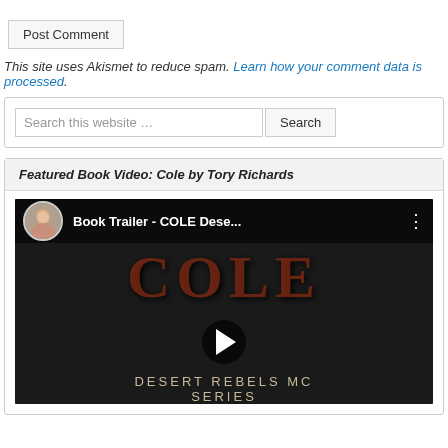Post Comment
This site uses Akismet to reduce spam. Learn how your comment data is processed.
Search this website … Search
Featured Book Video: Cole by Tory Richards
[Figure (screenshot): YouTube video thumbnail for Book Trailer - COLE Desert Rebels MC Series by Tory Richards, showing the word COLE in large dark red letters, a play button in the center, and text DESERT REBELS MC SERIES at the bottom.]